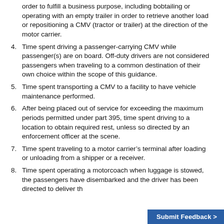Continuation of a CMV trip in interstate commerce in order to fulfill a business purpose, including bobtailing or operating with an empty trailer in order to retrieve another load or repositioning a CMV (tractor or trailer) at the direction of the motor carrier.
4. Time spent driving a passenger-carrying CMV while passenger(s) are on board. Off-duty drivers are not considered passengers when traveling to a common destination of their own choice within the scope of this guidance.
5. Time spent transporting a CMV to a facility to have vehicle maintenance performed.
6. After being placed out of service for exceeding the maximum periods permitted under part 395, time spent driving to a location to obtain required rest, unless so directed by an enforcement officer at the scene.
7. Time spent traveling to a motor carrier’s terminal after loading or unloading from a shipper or a receiver.
8. Time spent operating a motorcoach when luggage is stowed, the passengers have disembarked and the driver has been directed to deliver th…